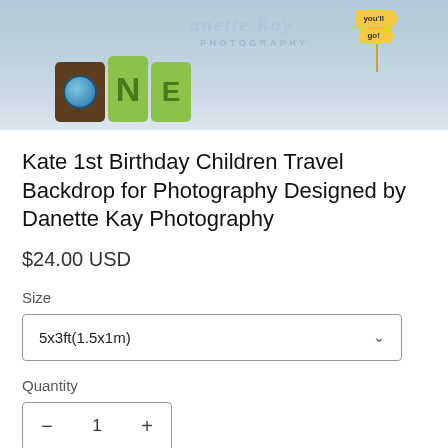[Figure (photo): Product photo showing decorative 'ONE' letters with globe and green letters, a photography studio backdrop with 'Danette Kay Photography' watermark and a yellow directional sign saying 'you'll go!']
Kate 1st Birthday Children Travel Backdrop for Photography Designed by Danette Kay Photography
$24.00 USD
Size
5x3ft(1.5x1m)
Quantity
- 1 +
ADD TO CART